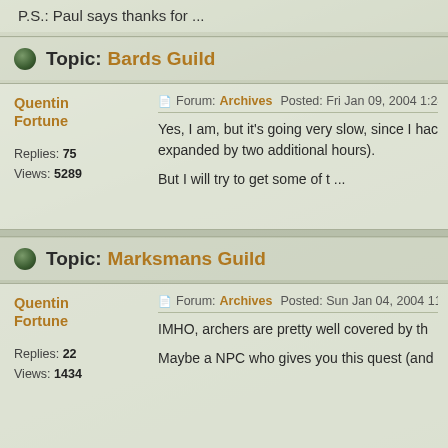P.S.: Paul says thanks for ...
Topic: Bards Guild
Quentin Fortune
Forum: Archives  Posted: Fri Jan 09, 2004 1:24 p
Replies: 75  Views: 5289
Yes, I am, but it's going very slow, since I hac expanded by two additional hours).
But I will try to get some of t ...
Topic: Marksmans Guild
Quentin Fortune
Forum: Archives  Posted: Sun Jan 04, 2004 11:40
Replies: 22  Views: 1434
IMHO, archers are pretty well covered by th
Maybe a NPC who gives you this quest (and